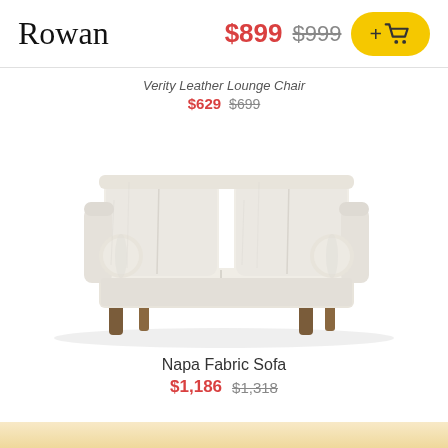Rowan
$899 $999 +cart
Verity Leather Lounge Chair $629 $699
[Figure (photo): A modern light gray fabric sofa (Napa Fabric Sofa) with two cushion backs, two cylindrical bolster pillows on the armrests, and tapered walnut-colored wooden legs. The sofa is photographed on a white background.]
Napa Fabric Sofa
$1,186 $1,318